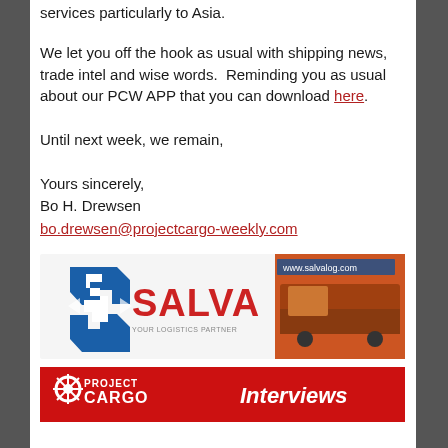services particularly to Asia.
We let you off the hook as usual with shipping news, trade intel and wise words.  Reminding you as usual about our PCW APP that you can download here.
Until next week, we remain,
Yours sincerely,
Bo H. Drewsen
bo.drewsen@projectcargo-weekly.com
[Figure (illustration): Salvalog company advertisement banner with logo (blue diamond S shape) and red/yellow text 'SALVALOG', showing a truck with cargo on the right side]
[Figure (illustration): Project Cargo Weekly red banner with logo on left and 'Interviews' text on right]